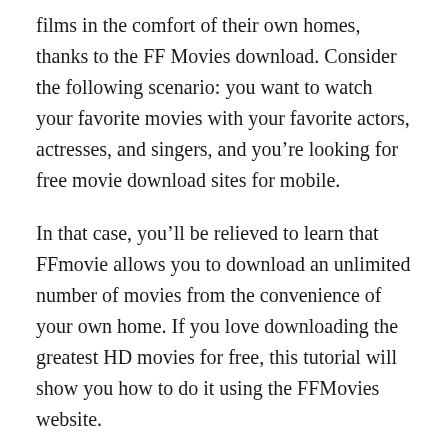films in the comfort of their own homes, thanks to the FF Movies download. Consider the following scenario: you want to watch your favorite movies with your favorite actors, actresses, and singers, and you're looking for free movie download sites for mobile.
In that case, you'll be relieved to learn that FFmovie allows you to download an unlimited number of movies from the convenience of your own home. If you love downloading the greatest HD movies for free, this tutorial will show you how to do it using the FFMovies website.
One of the most popular sites for watching free movies online is FFMovies. We provide comprehensive access to a library of over 20000 movies and 5000 TV series in excellent quality for free streaming without any registration. FFMovies releases new content on a regular